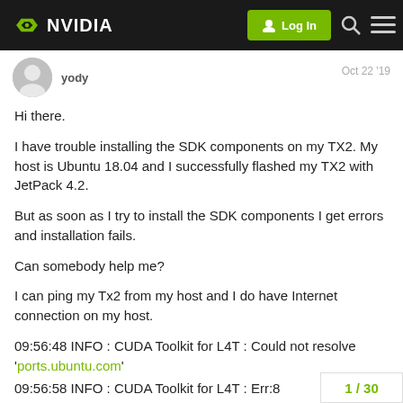NVIDIA — Log In
[Figure (screenshot): NVIDIA forum post showing a user asking for help installing SDK components on TX2 with JetPack 4.2 on Ubuntu 18.04, including error logs showing CUDA Toolkit for L4T could not resolve ports.ubuntu.com]
Hi there.
I have trouble installing the SDK components on my TX2. My host is Ubuntu 18.04 and I successfully flashed my TX2 with JetPack 4.2.
But as soon as I try to install the SDK components I get errors and installation fails.
Can somebody help me?
I can ping my Tx2 from my host and I do have Internet connection on my host.
09:56:48 INFO : CUDA Toolkit for L4T : Could not resolve 'ports.ubuntu.com'
09:56:58 INFO : CUDA Toolkit for L4T : Err:8
http://ports.ubuntu.com/ubuntu-ports
1 / 30